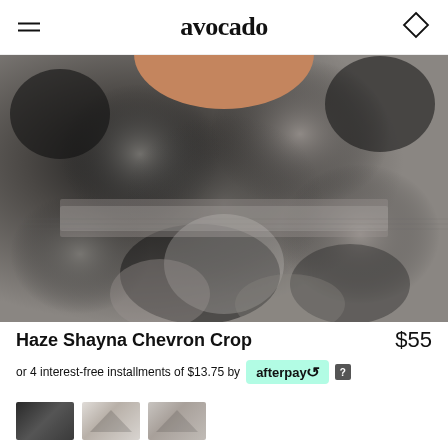avocado
[Figure (photo): Close-up of a person wearing tie-dye black and grey high-waist crop leggings, showing the midsection and waistband area.]
Haze Shayna Chevron Crop
$55
or 4 interest-free installments of $13.75 by afterpay